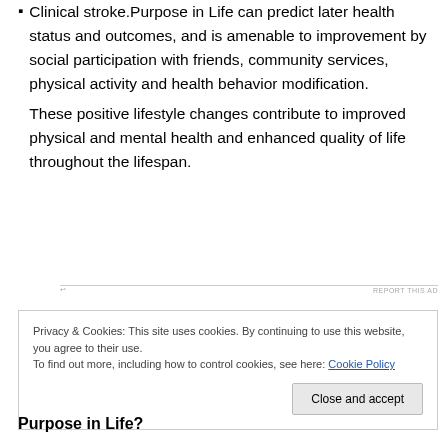Clinical stroke.Purpose in Life can predict later health status and outcomes, and is amenable to improvement by social participation with friends, community services, physical activity and health behavior modification. These positive lifestyle changes contribute to improved physical and mental health and enhanced quality of life throughout the lifespan.
Privacy & Cookies: This site uses cookies. By continuing to use this website, you agree to their use. To find out more, including how to control cookies, see here: Cookie Policy
Purpose in Life?